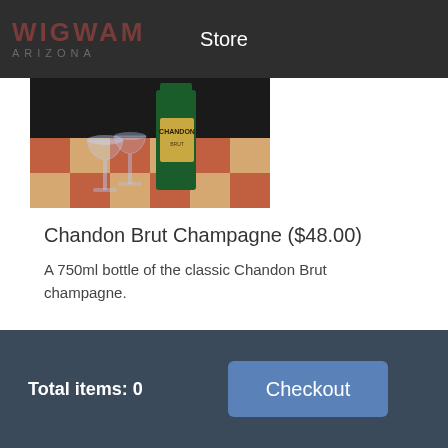WIGWAM  ARIZONA  Store
[Figure (photo): Photo of a Chandon Brut champagne bottle next to two crystal wine glasses on a checkered tablecloth]
Chandon Brut Champagne ($48.00)
A 750ml bottle of the classic Chandon Brut champagne.
Total items: 0
Checkout